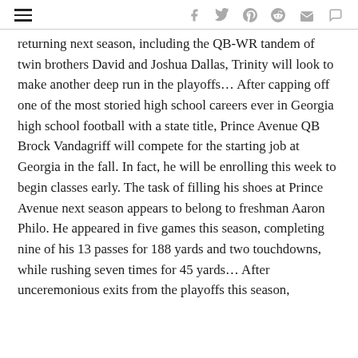navigation and social sharing icons
returning next season, including the QB-WR tandem of twin brothers David and Joshua Dallas, Trinity will look to make another deep run in the playoffs... After capping off one of the most storied high school careers ever in Georgia high school football with a state title, Prince Avenue QB Brock Vandagriff will compete for the starting job at Georgia in the fall. In fact, he will be enrolling this week to begin classes early. The task of filling his shoes at Prince Avenue next season appears to belong to freshman Aaron Philo. He appeared in five games this season, completing nine of his 13 passes for 188 yards and two touchdowns, while rushing seven times for 45 yards... After unceremonious exits from the playoffs this season,